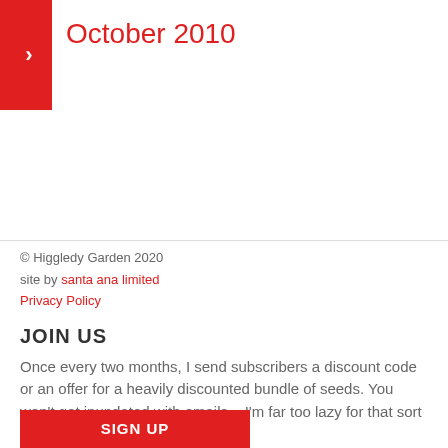October 2010
© Higgledy Garden 2020
site by santa ana limited
Privacy Policy
JOIN US
Once every two months, I send subscribers a discount code or an offer for a heavily discounted bundle of seeds. You won't get inundated with emails... I'm far too lazy for that sort of caper.
Email address:
Your email address
SIGN UP